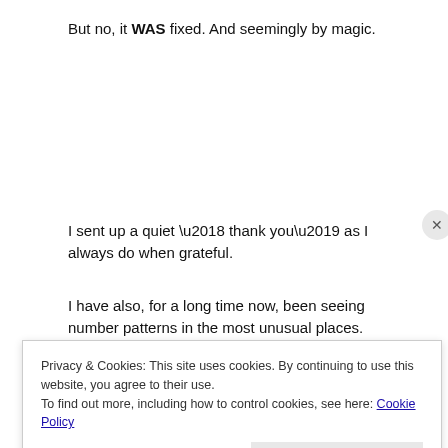But no, it WAS fixed. And seemingly by magic.
I sent up a quiet ‘ thank you’ as I always do when grateful.
I have also, for a long time now, been seeing number patterns in the most unusual places.
Recurring 11:11 on the cooker clock in my kitchen, repeated 00:00 on my car radio and feathers appearing  on my path everywhere I walk.
Privacy & Cookies: This site uses cookies. By continuing to use this website, you agree to their use.
To find out more, including how to control cookies, see here: Cookie Policy
Close and accept